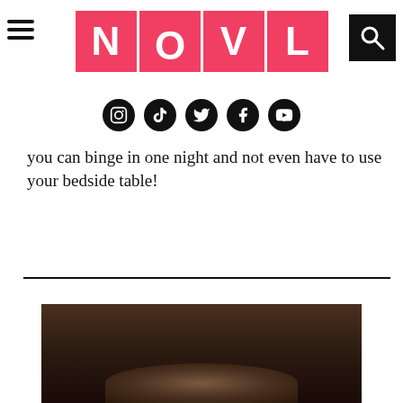[Figure (logo): NOVL logo with four pink tiles, each containing a white letter N, O (with heart), V, L]
[Figure (infographic): Row of five social media icons (Instagram, TikTok, Twitter, Facebook, YouTube) as white icons on black circles]
you can binge in one night and not even have to use your bedside table!
[Figure (photo): Dark photographic image partially visible at the bottom of the page]